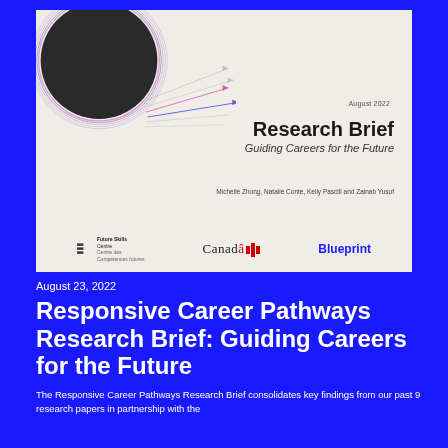[Figure (illustration): Cover of Research Brief document showing a decorative circular graphic with radiating colored lines on a cream/beige background, with logos for Future Skills Centre, Canada, and Blueprint at the bottom]
Research Brief
Guiding Careers for the Future
August 2022
Michelle Zhong, Natalie Conte, Kelly Pasclli and Zainab Yusuf
August 23, 2022
Responsive Career Pathways Research Brief: Guiding Careers for the Future
The Responsive Career Pathways Research Brief consolidates key findings from our past 9 research papers in partnership with the